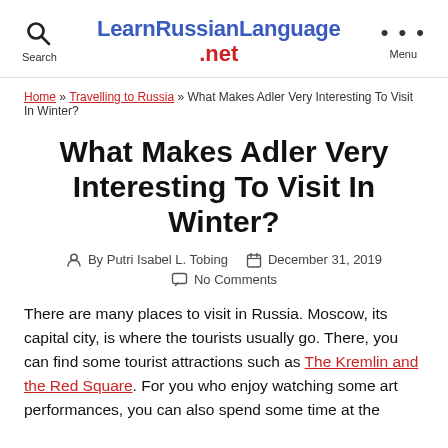LearnRussianLanguage.net
Home » Travelling to Russia » What Makes Adler Very Interesting To Visit In Winter?
What Makes Adler Very Interesting To Visit In Winter?
By Putri Isabel L. Tobing   December 31, 2019   No Comments
There are many places to visit in Russia. Moscow, its capital city, is where the tourists usually go. There, you can find some tourist attractions such as The Kremlin and the Red Square. For you who enjoy watching some art performances, you can also spend some time at the